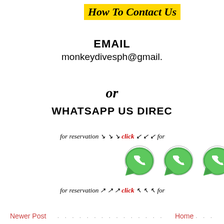How To Contact Us
EMAIL
monkeydivesph@gmail.com
or
WHATSAPP US DIRECTLY
for reservation >>> click <<< for
[Figure (illustration): Three WhatsApp logo icons (green speech bubble with phone handset) arranged horizontally]
for reservation ^^^ click ^^^ for
Newer Post . . . . . . . . . . . . . . . Home . . .